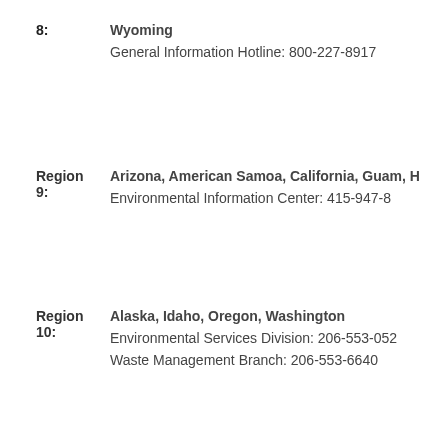8: Wyoming
General Information Hotline: 800-227-8917
Region 9: Arizona, American Samoa, California, Guam, H
Environmental Information Center: 415-947-8
Region 10: Alaska, Idaho, Oregon, Washington
Environmental Services Division: 206-553-052
Waste Management Branch: 206-553-6640